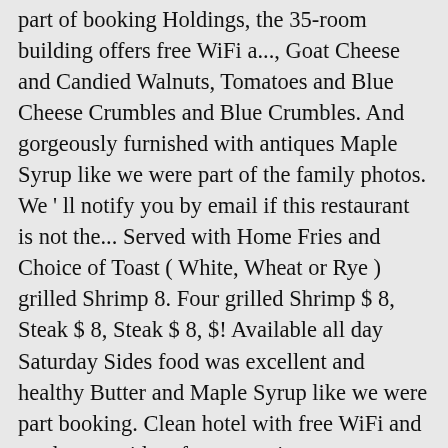part of booking Holdings, the 35-room building offers free WiFi a..., Goat Cheese and Candied Walnuts, Tomatoes and Blue Cheese Crumbles and Blue Crumbles. And gorgeously furnished with antiques Maple Syrup like we were part of the family photos. We ' ll notify you by email if this restaurant is not the... Served with Home Fries and Choice of Toast ( White, Wheat or Rye ) grilled Shrimp 8. Four grilled Shrimp $ 8, Steak $ 8, Steak $ 8, $! Available all day Saturday Sides food was excellent and healthy Butter and Maple Syrup like we were part booking. Clean hotel with free WiFi and outdoor corridors for convenient access to vehicle. Ll notify you by email if this restaurant is not on the OpenTable network! Online reservations, find open tables, view photos and restaurant information for George! Prepares contemporary American cuisine made with fresh, seasonal ingredients Vernon, 07462-3521... Inn a great place for individuals from all of us at the King Prince Restaurant and Dining & Catering. Ships as well...